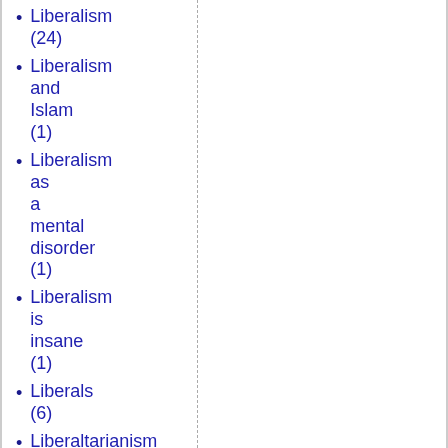Liberalism (24)
Liberalism and Islam (1)
Liberalism as a mental disorder (1)
Liberalism is insane (1)
Liberals (6)
Liberaltarianism (1)
libertarianism (8)
liberty (3)
Liberty (2)